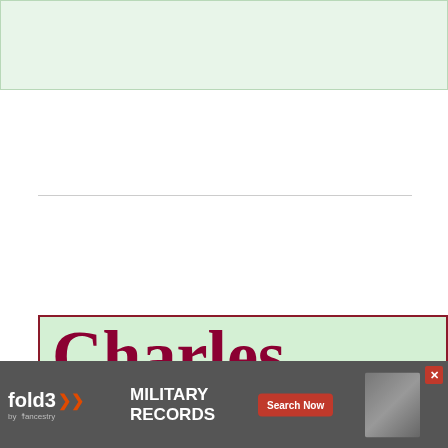[Figure (other): Light green banner/header area at top of page]
Charles Marc JOHANNOT
[Figure (other): Advertisement banner for fold3 Military Records by Ancestry with Search Now button]